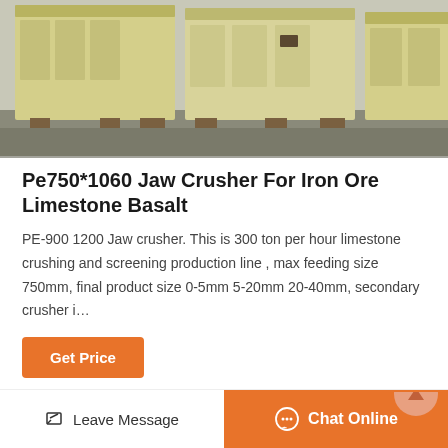[Figure (photo): Industrial jaw crusher equipment — large yellow/cream colored machines on concrete ground, multiple units visible from front/side angle]
Pe750*1060 Jaw Crusher For Iron Ore Limestone Basalt
PE-900 1200 Jaw crusher. This is 300 ton per hour limestone crushing and screening production line , max feeding size 750mm, final product size 0-5mm 5-20mm 20-40mm, secondary crusher i…
[Figure (other): Get Price button — orange rounded rectangle button]
[Figure (photo): Second product image — close-up of industrial metal mesh/grating surface in grayscale]
[Figure (other): Bottom bar with Leave Message and Chat Online buttons]